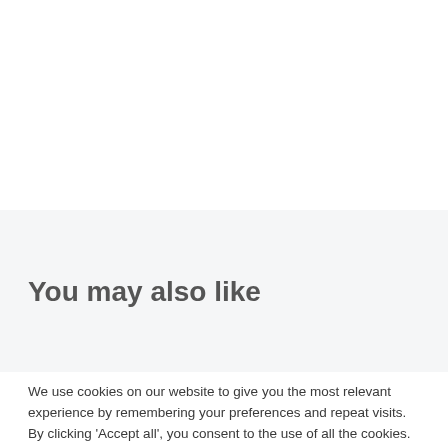You may also like
We use cookies on our website to give you the most relevant experience by remembering your preferences and repeat visits. By clicking 'Accept all', you consent to the use of all the cookies. However, you may visit 'Cookie settings' to provide a controlled consent.
Cookie settings   Accept all